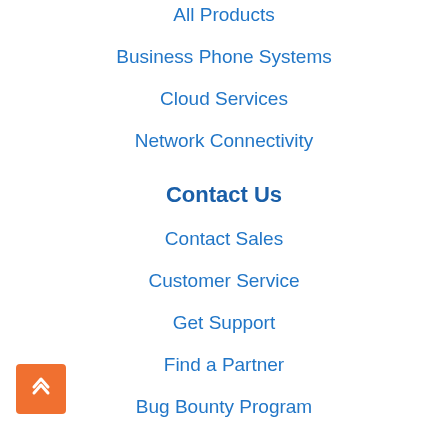All Products
Business Phone Systems
Cloud Services
Network Connectivity
Contact Us
Contact Sales
Customer Service
Get Support
Find a Partner
Bug Bounty Program
Resources
Blog
Content Library